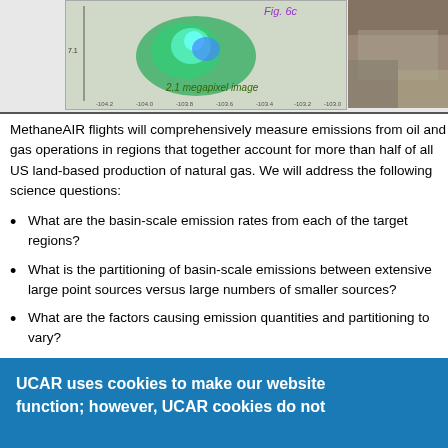[Figure (other): Partial view of a scientific map figure (Fig. 6c) showing a 2.1 megapixel image with colorized geographic/emission data overlay, alongside a photograph on the right.]
MethaneAIR flights will comprehensively measure emissions from oil and gas operations in regions that together account for more than half of all US land-based production of natural gas. We will address the following science questions:
What are the basin-scale emission rates from each of the target regions?
What is the partitioning of basin-scale emissions between extensive large point sources versus large numbers of smaller sources?
What are the factors causing emission quantities and partitioning to vary?
As a secondary objective, we plan to quantify landfill emissions within several of our target regions to explore the effectiveness of methane capture technology.
UCAR uses cookies to make our website function; however, UCAR cookies do not